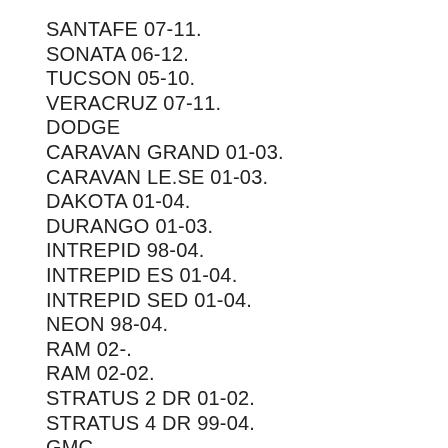SANTAFE 07-11.
SONATA 06-12.
TUCSON 05-10.
VERACRUZ 07-11.
DODGE
CARAVAN GRAND 01-03.
CARAVAN LE.SE 01-03.
DAKOTA 01-04.
DURANGO 01-03.
INTREPID 98-04.
INTREPID ES 01-04.
INTREPID SED 01-04.
NEON 98-04.
RAM 02-.
RAM 02-02.
STRATUS 2 DR 01-02.
STRATUS 4 DR 99-04.
GMC
ACADIA 07-11.
CANYON 04-08.